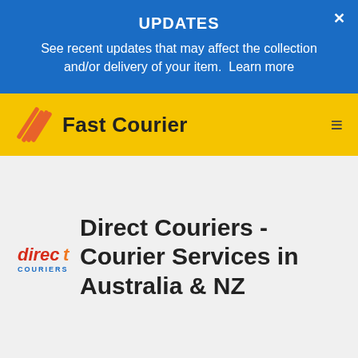UPDATES
See recent updates that may affect the collection and/or delivery of your item.  Learn more
[Figure (logo): Fast Courier navigation bar with orange stacked-lines logo icon, bold black text 'Fast Courier' on yellow background, hamburger menu icon on right]
[Figure (logo): Direct Couriers logo: 'direct' in red/orange italic text with 'COURIERS' below in blue small caps]
Direct Couriers - Courier Services in Australia & NZ